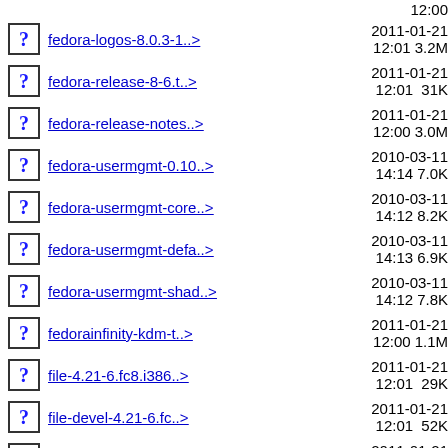fedora-logos-8.0.3-1..> 2011-01-21 12:01 3.2M
fedora-release-8-6.t..> 2011-01-21 12:01 31K
fedora-release-notes..> 2011-01-21 12:00 3.0M
fedora-usermgmt-0.10..> 2010-03-11 14:14 7.0K
fedora-usermgmt-core..> 2010-03-11 14:12 8.2K
fedora-usermgmt-defa..> 2010-03-11 14:13 6.9K
fedora-usermgmt-shad..> 2010-03-11 14:12 7.8K
fedorainfinity-kdm-t..> 2011-01-21 12:00 1.1M
file-4.21-6.fc8.i386..> 2011-01-21 12:01 29K
file-devel-4.21-6.fc..> 2011-01-21 12:01 52K
file-libs-4.21-6.fc8..> 2011-01-21 12:01 309K